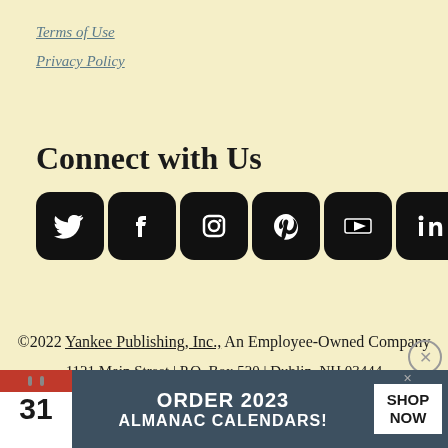Terms of Use
Privacy Policy
Connect with Us
[Figure (illustration): Social media icons: Twitter, Facebook, Instagram, Pinterest, YouTube, LinkedIn — all black rounded square icons]
©2022 Yankee Publishing, Inc., An Employee-Owned Company
1121 Main Street | P.O. Box 520 | Dublin, NH 03444
Custom programming and server maintenance by
[Figure (infographic): Advertisement banner: ORDER 2023 ALMANAC CALENDARS! with calendar icon and SHOP NOW button on dark blue/grey background]